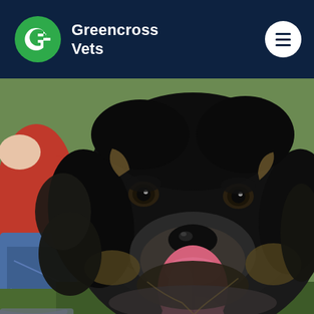Greencross Vets
[Figure (photo): Close-up photo of a large fluffy black and tan dog with tongue hanging out, sitting next to a person wearing a red top and blue jeans, outdoors on grass.]